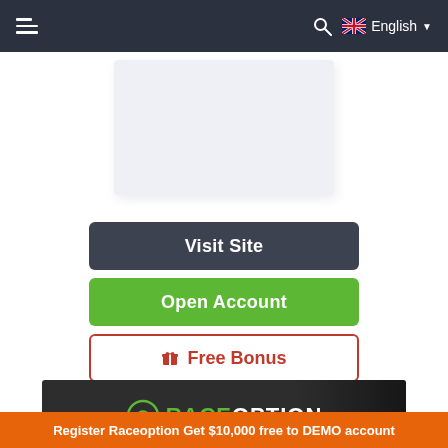≡ [search] English ▾
[Figure (screenshot): Light blue-gray placeholder card/image area]
Visit Site
Open Account
🎁 Free Bonus
[Figure (logo): Raceoption logo on dark background with blurred figure on right]
Register Raceoption Get $10,000 free to DEMO account